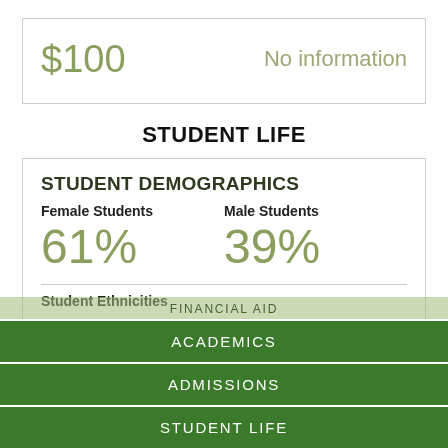$100   No information
STUDENT LIFE
STUDENT DEMOGRAPHICS
Female Students
61%
Male Students
39%
Student Ethnicities
FINANCIAL AID
ACADEMICS
ADMISSIONS
STUDENT LIFE